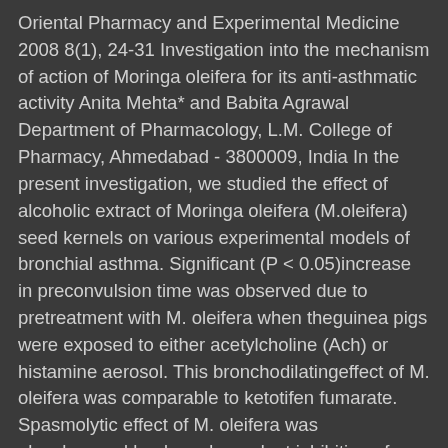Oriental Pharmacy and Experimental Medicine 2008 8(1), 24-31 Investigation into the mechanism of action of Moringa oleifera for its anti-asthmatic activity Anita Mehta* and Babita Agrawal Department of Pharmacology, L.M. College of Pharmacy, Ahmedabad - 3800009, India In the present investigation, we studied the effect of alcoholic extract of Moringa oleifera (M.oleifera) seed kernels on various experimental models of bronchial asthma. Significant (P < 0.05)increase in preconvulsion time was observed due to pretreatment with M. oleifera when theguinea pigs were exposed to either acetylcholine (Ach) or histamine aerosol. This bronchodilatingeffect of M. oleifera was comparable to ketotifen fumarate. Spasmolytic effect of M. oleifera was alsoobserved by dose dependent inhibition of ideal contractions induced by Ach, 5HT, histamine andBaCl2. Alcoholic extract of M. oleifera produced significant dose dependent protection by eggalbumin and compound 48/80 induced mast cell degranulation. Pretreatment with alcoholicextract of M. oleifera also decreased carrageenan induced rat paw edema, which was comparableto that of standard diclofenac sodium. Minimum inhibitory concentration